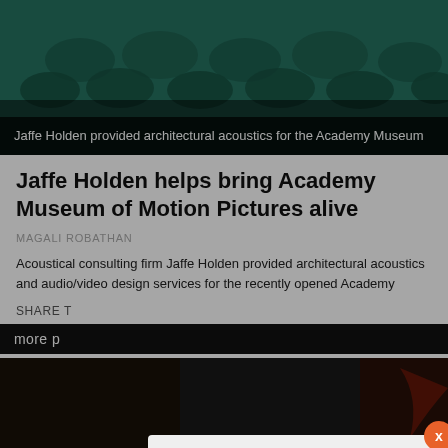[Figure (photo): Dark teal/green interior photo, likely auditorium seating, with a dark semi-transparent overlay at bottom containing a caption.]
Jaffe Holden provided architectural acoustics for the Academy Museum
Jaffe Holden helps bring Academy Museum of Motion Pictures alive
MAGALI ROBATHAN
Acoustical consulting firm Jaffe Holden provided architectural acoustics and audio/video design services for the recently opened Academy
SHARE T
more p
CLADK
[Figure (photo): Dark image at bottom of page, partially visible, with dark reddish tones on right side.]
[Figure (screenshot): Modal popup dialog for signing up with CLAD for regular news updates, with First name, Last name, Email fields and a SIGN UP button. Orange close button (X) in top right corner.]